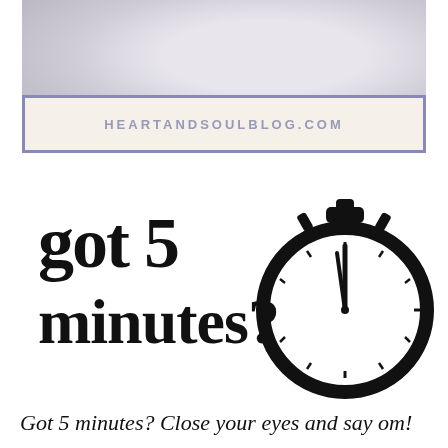[Figure (photo): Header photo showing fabric/clothing in soft grey and lavender tones, with a cream-colored banner overlaid reading HEARTANDSOULBLOG.COM in spaced letters, framed by a periwinkle blue border]
[Figure (illustration): Hand-lettered text reading 'got 5 minutes?' alongside a black stopwatch/clock illustration showing time near 12 o'clock]
Got 5 minutes? Close your eyes and say om!